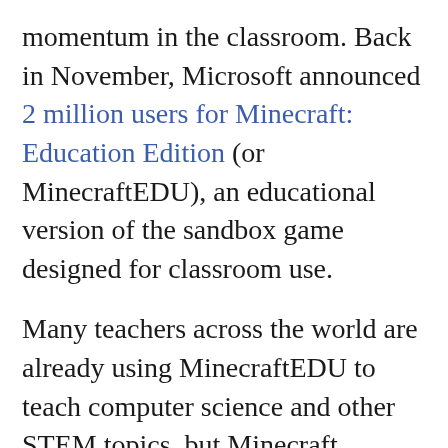momentum in the classroom. Back in November, Microsoft announced 2 million users for Minecraft: Education Edition (or MinecraftEDU), an educational version of the sandbox game designed for classroom use.

Many teachers across the world are already using MinecraftEDU to teach computer science and other STEM topics, but Minecraft developer Mojang plans to introduce a fun way to explore chemistry within MinecraftEDU next month. "Bringing chemistry to Minecraft not only helps spark interest in STEM, but also helps educators engage students in the scientific process, reinforcing creative problem solving and engaging experiments," said Minecraft Education Director Neal Manegold in a blog post